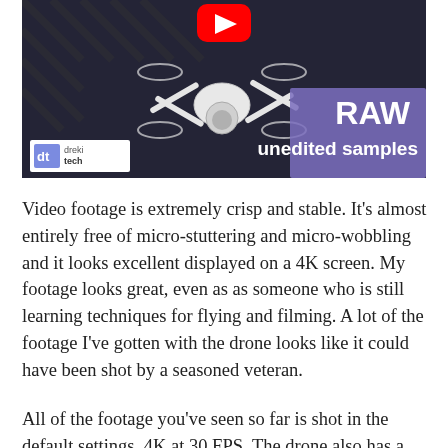[Figure (screenshot): YouTube video thumbnail showing a white DJI drone on a dark surface. Red YouTube play button icon at top center. Text overlay reads 'RAW unedited samples' in white bold text on right side with purple/blue background accent. DrekiTech logo in lower left corner of thumbnail.]
Video footage is extremely crisp and stable. It’s almost entirely free of micro-stuttering and micro-wobbling and it looks excellent displayed on a 4K screen. My footage looks great, even as as someone who is still learning techniques for flying and filming. A lot of the footage I’ve gotten with the drone looks like it could have been shot by a seasoned veteran.
All of the footage you’ve seen so far is shot in the default settings, 4K at 30 FPS. The drone also has a